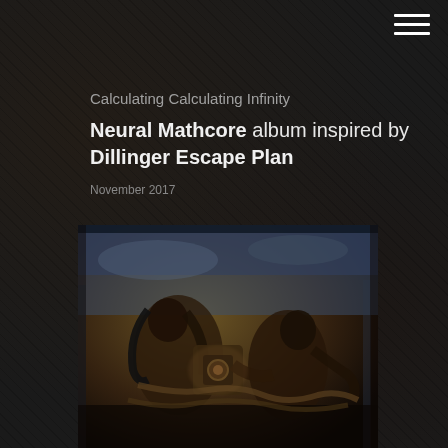Calculating Calculating Infinity
Neural Mathcore album inspired by Dillinger Escape Plan
November 2017
[Figure (photo): Album cover art image showing a chaotic, surreal illustration with human figures and mechanical elements in dark sepia/golden tones, inspired by Dillinger Escape Plan's Calculating Infinity album artwork style]